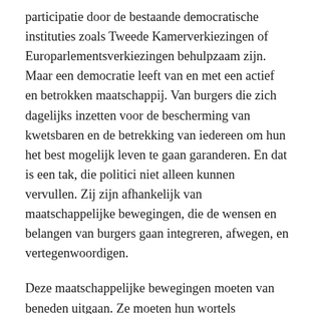participatie door de bestaande democratische instituties zoals Tweede Kamerverkiezingen of Europarlementsverkiezingen behulpzaam zijn. Maar een democratie leeft van en met een actief en betrokken maatschappij. Van burgers die zich dagelijks inzetten voor de bescherming van kwetsbaren en de betrekking van iedereen om hun het best mogelijk leven te gaan garanderen. En dat is een tak, die politici niet alleen kunnen vervullen. Zij zijn afhankelijk van maatschappelijke bewegingen, die de wensen en belangen van burgers gaan integreren, afwegen, en vertegenwoordigen.
Deze maatschappelijke bewegingen moeten van beneden uitgaan. Ze moeten hun wortels